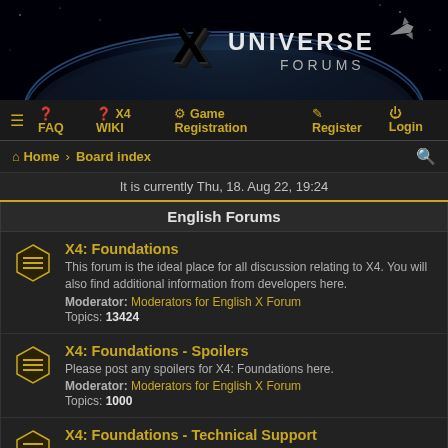[Figure (illustration): X Universe Forums banner with space background showing planet/moon arc, X logo and UNIVERSE FORUMS text]
≡  FAQ  X4 WIKI  Game Registration  Register  Login
Home › Board index
It is currently Thu, 18. Aug 22, 19:24
English Forums
X4: Foundations
This forum is the ideal place for all discussion relating to X4. You will also find additional information from developers here.
Moderator: Moderators for English X Forum
Topics: 13424
X4: Foundations - Spoilers
Please post any spoilers for X4: Foundations here.
Moderator: Moderators for English X Forum
Topics: 1000
X4: Foundations - Technical Support
Ask here if you experience technical problems with X4: Foundations.
Moderator: Moderators for English X Forum
Topics: 6644
X4: Foundations - Scripts and Modding
The place to discuss scripting and game modifications for X4: Foundations.